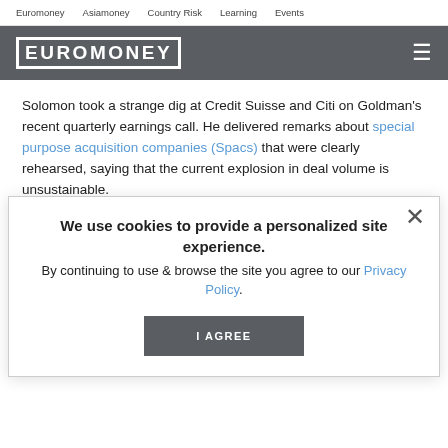Euromoney   Asiamoney   Country Risk   Learning   Events
[Figure (logo): Euromoney logo on dark gray header bar with hamburger menu icon]
Solomon took a strange dig at Credit Suisse and Citi on Goldman's recent quarterly earnings call. He delivered remarks about special purpose acquisition companies (Spacs) that were clearly rehearsed, saying that the current explosion in deal volume is unsustainable.
We do not need to be number one in the Spac league table. Importantly, we're very thoughtful about our sponsors and the business that we take on. And ... last year, if you look at the number of Spacs that we've done and the league table leaders, the number one and number two firms did about 33% more deals than we did – representative. I
We use cookies to provide a personalized site experience.
By continuing to use & browse the site you agree to our Privacy Policy.
I AGREE